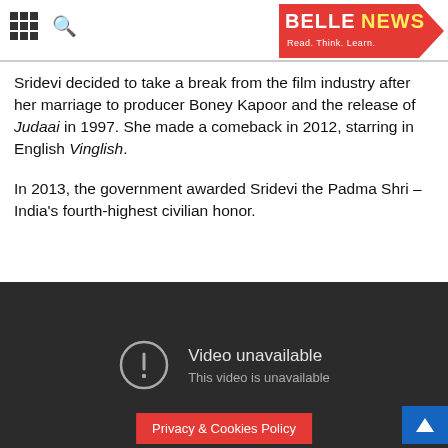BELLE NEWS — Read. Think. Learn.
Sridevi decided to take a break from the film industry after her marriage to producer Boney Kapoor and the release of Judaai in 1997. She made a comeback in 2012, starring in English Vinglish.
In 2013, the government awarded Sridevi the Padma Shri – India's fourth-highest civilian honor.
[Figure (screenshot): Embedded video player showing 'Video unavailable — This video is unavailable' message on a dark background, with a Privacy & Cookies Policy button and a scroll-up arrow button at the bottom.]